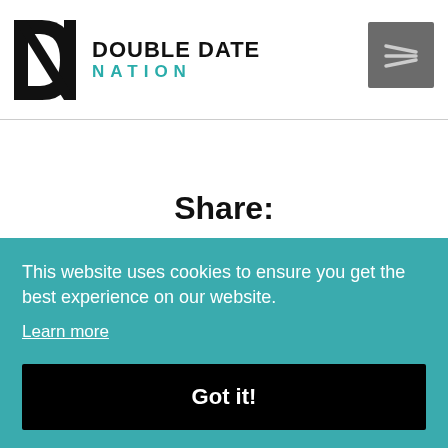[Figure (logo): Double Date Nation logo with stylized DN icon and teal NATION text]
Share:
[Figure (other): Facebook share button (dark blue with Facebook icon)]
[Figure (other): Twitter share button (light blue with Twitter bird icon)]
This website uses cookies to ensure you get the best experience on our website.
Learn more
Got it!